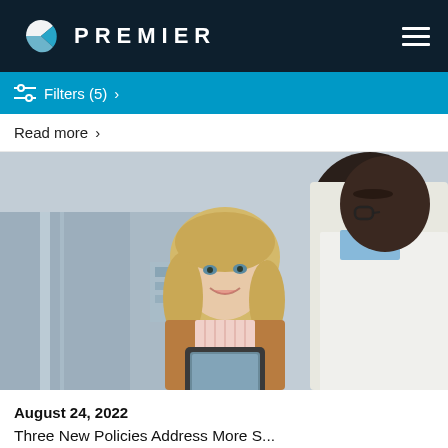PREMIER
Filters (5) >
Read more >
[Figure (photo): A middle-aged woman with blonde hair wearing a tan cardigan and pink shirt holding a tablet, consulting with a doctor in a white coat in a medical office setting.]
August 24, 2022
Three New Policies Address More S...